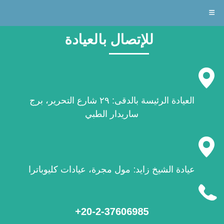للإتصال بالعيادة
العيادة الرئيسة بالدقى: ٩٢ شارع التحرير، برج ساريدار الطبي
عيادة الشيخ زايد: مول مجرة، عيادات كليوباترا
+20-2-37606985